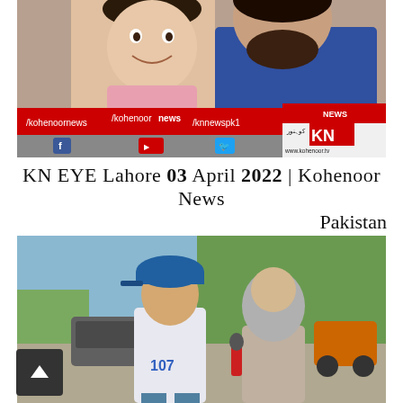[Figure (screenshot): TV news broadcast screenshot showing a young boy smiling next to a bearded man, with Kohenoor News lower-third graphics showing social media handles /kohenoornews, /kohenoor news, /knnewspk1, Facebook, YouTube, and Twitter icons, KN News logo, and www.kohenoor.tv website]
KN EYE Lahore 03 April 2022 | Kohenoor News Pakistan
[Figure (screenshot): Street scene screenshot showing a man in a blue cap wearing a shirt with number 107, standing next to a woman in a grey hijab holding a microphone, with cars, trees, and a rickshaw in the background]